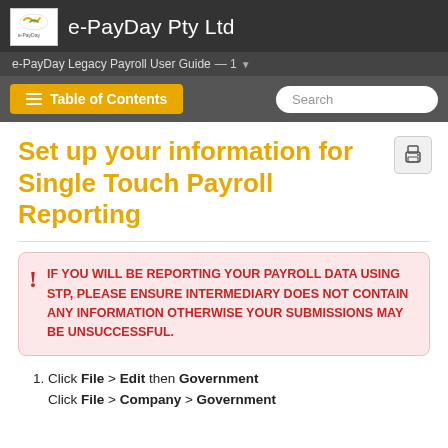e-PayDay Pty Ltd
e-PayDay Legacy Payroll User Guide — 1
Set up your information for Single Touch Payroll Reporting
IF YOU WILL BE REPORTING YOUR PAYROLL DATA USING STP, PLEASE ENSURE INTERMEDIARY DOES NOT CONTAIN ANY INFORMATION OTHERWISE YOUR SUBMISSIONS MAY BE UNSUCCESSFUL.
Click File > Edit then Government
Click File > Company > Government